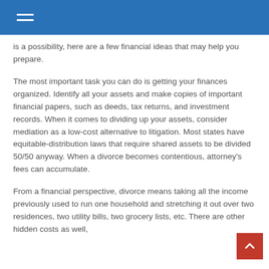is a possibility, here are a few financial ideas that may help you prepare.
The most important task you can do is getting your finances organized. Identify all your assets and make copies of important financial papers, such as deeds, tax returns, and investment records. When it comes to dividing up your assets, consider mediation as a low-cost alternative to litigation. Most states have equitable-distribution laws that require shared assets to be divided 50/50 anyway. When a divorce becomes contentious, attorney's fees can accumulate.
From a financial perspective, divorce means taking all the income previously used to run one household and stretching it out over two residences, two utility bills, two grocery lists, etc. There are other hidden costs as well,